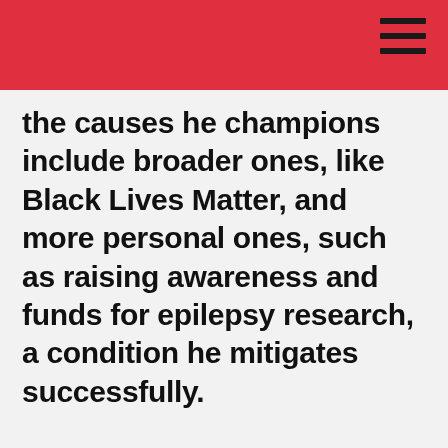the causes he champions include broader ones, like Black Lives Matter, and more personal ones, such as raising awareness and funds for epilepsy research, a condition he mitigates successfully.
“The LGBTQ+ community has grown so much with all types